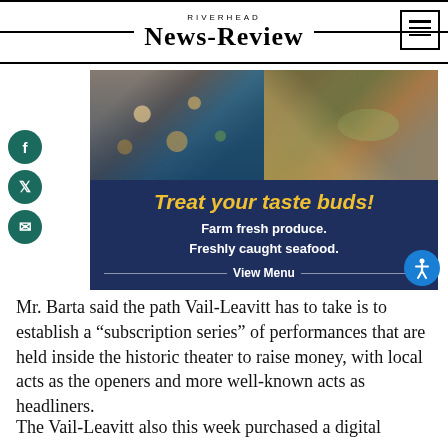RIVERHEAD NEWS-REVIEW
[Figure (illustration): Advertisement banner for a restaurant/market with food photos (seafood and tacos) on dark navy background. Text reads: Treat your taste buds! Farm fresh produce. Freshly caught seafood. View Menu]
Mr. Barta said the path Vail-Leavitt has to take is to establish a “subscription series” of performances that are held inside the historic theater to raise money, with local acts as the openers and more well-known acts as headliners.
The Vail-Leavitt also this week purchased a digital